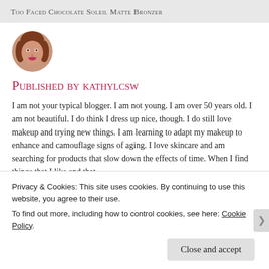Too Faced Chocolate Soleil Matte Bronzer
[Figure (photo): Circular avatar photo of a woman with reddish-brown hair, smiling, wearing makeup.]
Published by kathylcsw
I am not your typical blogger. I am not young. I am over 50 years old. I am not beautiful. I do think I dress up nice, though. I do still love makeup and trying new things. I am learning to adapt my makeup to enhance and camouflage signs of aging. I love skincare and am searching for products that slow down the effects of time. When I find things that I like and that
Privacy & Cookies: This site uses cookies. By continuing to use this website, you agree to their use.
To find out more, including how to control cookies, see here: Cookie Policy